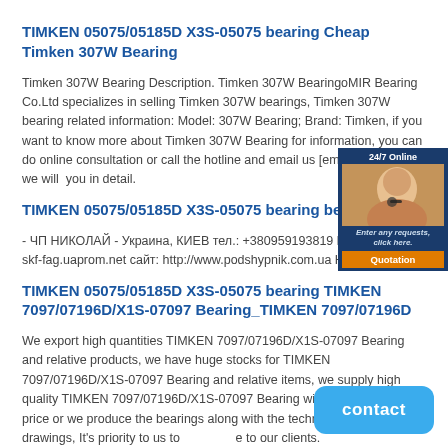TIMKEN 05075/05185D X3S-05075 bearing Cheap Timken 307W Bearing
Timken 307W Bearing Description. Timken 307W BearingoMIR Bearing Co.Ltd specializes in selling Timken 307W bearings, Timken 307W bearing related information: Model: 307W Bearing; Brand: Timken, if you want to know more about Timken 307W Bearing for information, you can do online consultation or call the hotline and email us [email protected], we will you in detail.
TIMKEN 05075/05185D X3S-05075 bearing bearing.org
- ЧП НИКОЛАЙ - Украина, КИЕВ тел.: +380959193819 https://podsh… skf-fag.uaprom.net сайт: http://www.podshypnik.com.ua НАШ ТЕЛ …
TIMKEN 05075/05185D X3S-05075 bearing TIMKEN 7097/07196D/X1S-07097 Bearing_TIMKEN 7097/07196D
We export high quantities TIMKEN 7097/07196D/X1S-07097 Bearing and relative products, we have huge stocks for TIMKEN 7097/07196D/X1S-07097 Bearing and relative items, we supply high quality TIMKEN 7097/07196D/X1S-07097 Bearing with reasonbable price or we produce the bearings along with the technical data or relative drawings, It's priority to us to provide best service to our clients.
[Figure (photo): Customer service widget showing a woman with headset, 24/7 Online label, Enter any requests click here text, and Quotation button]